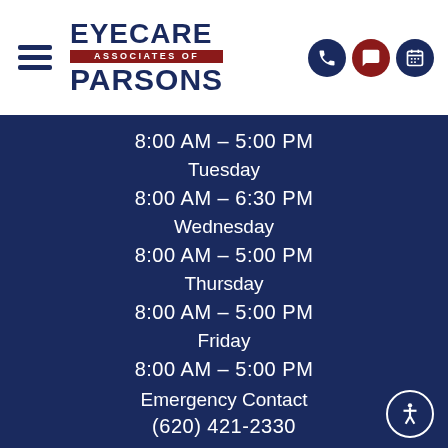[Figure (logo): Eyecare Associates of Parsons logo with hamburger menu and three icon buttons (phone, chat, calendar)]
8:00 AM – 5:00 PM
Tuesday
8:00 AM – 6:30 PM
Wednesday
8:00 AM – 5:00 PM
Thursday
8:00 AM – 5:00 PM
Friday
8:00 AM – 5:00 PM
Emergency Contact
(620) 421-2330